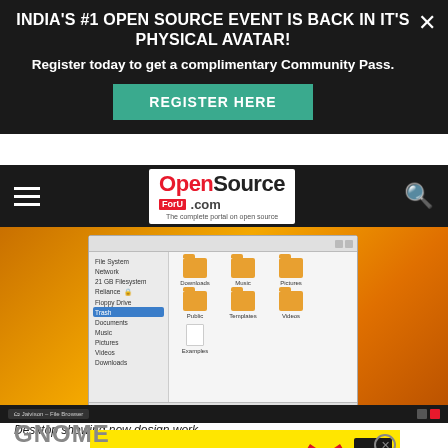about
INDIA'S #1 OPEN SOURCE EVENT IS BACK IN IT'S PHYSICAL AVATAR!
Register today to get a complimentary Community Pass.
REGISTER HERE
OpenSource ForU .com — The complete portal on open source
[Figure (screenshot): Desktop screenshot showing a file browser window (Nautilus-style) open on an orange gradient desktop background. The file browser shows sidebar with File System, Network, 21 GB Filesystem, Reliance, Floppy Drive, Trash, Documents, Music, Pictures, Videos, Downloads. Main pane shows folder icons: Downloads, Music, Pictures, Public, Templates, Videos, Examples. Status bar shows '0 items, Free space: 6.7 GB'. Bottom taskbar visible.]
Desktop showing new design work
[Figure (infographic): Yellow advertisement banner with red 'BEWARE!' heading, text 'You might fall in LOVE with a ma', a red heart shape, and an Express Go magazine cover. Close button in top-right.]
GNOME